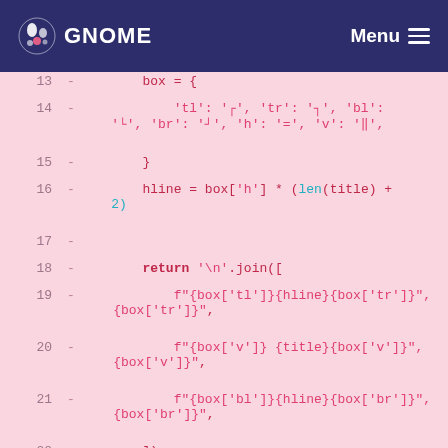GNOME  Menu
[Figure (screenshot): GNOME website code diff view showing Python code lines 13-27 with line numbers, minus markers indicating deleted lines, pink background. Code shows a box dictionary with box-drawing characters, hline calculation, return statement with join, and def rm_rf function.]